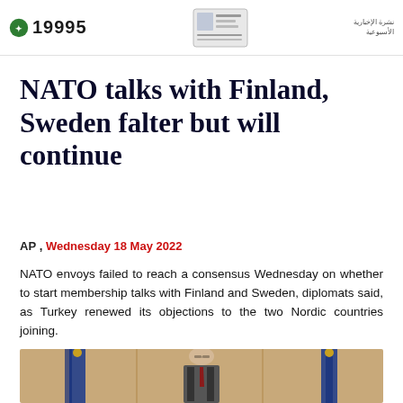19995
NATO talks with Finland, Sweden falter but will continue
AP , Wednesday 18 May 2022
NATO envoys failed to reach a consensus Wednesday on whether to start membership talks with Finland and Sweden, diplomats said, as Turkey renewed its objections to the two Nordic countries joining.
[Figure (photo): A man in a suit standing between flags at what appears to be a NATO venue or press conference setting.]